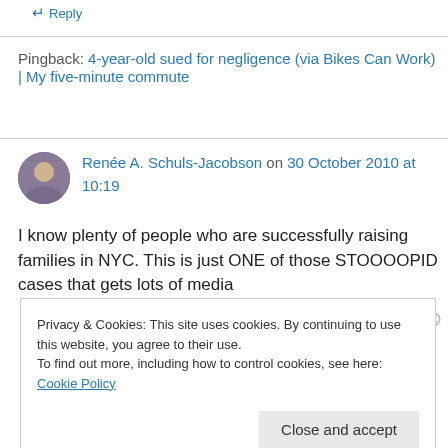↵ Reply
Pingback: 4-year-old sued for negligence (via Bikes Can Work) | My five-minute commute
Renée A. Schuls-Jacobson on 30 October 2010 at 10:19
I know plenty of people who are successfully raising families in NYC. This is just ONE of those STOOOOPID cases that gets lots of media
Privacy & Cookies: This site uses cookies. By continuing to use this website, you agree to their use.
To find out more, including how to control cookies, see here: Cookie Policy
Close and accept